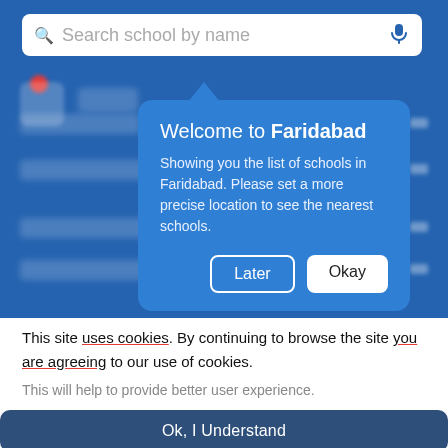[Figure (screenshot): Screenshot of a school search app with a blue background, a search bar reading 'Search school by name', and a tooltip popup saying 'Welcome to Faridabad - Showing you the list of schools in Faridabad. Please set a more precise location to see the nearest schools.' with 'Later' and 'Okay' buttons.]
This site uses cookies. By continuing to browse the site you are agreeing to our use of cookies.
This will help to provide better user experience.